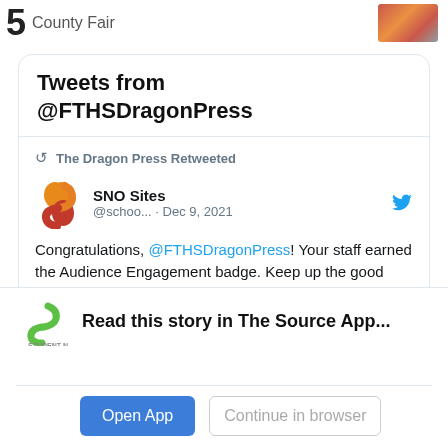5 County Fair
Tweets from @FTHSDragonPress
The Dragon Press Retweeted
SNO Sites @schoo... · Dec 9, 2021
Congratulations, @FTHSDragonPress! Your staff earned the Audience Engagement badge. Keep up the good work!
Read this story in The Source App...
Open App
Continue in browser